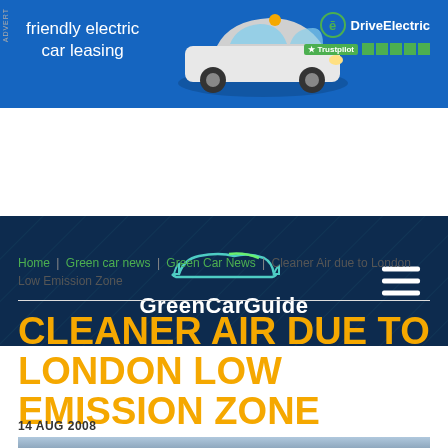[Figure (other): Advertisement banner for DriveElectric - friendly electric car leasing, with MINI electric car image and Trustpilot 5-star rating on blue background]
[Figure (logo): GreenCarGuide website navigation header with car outline logo in teal/green on dark navy background, with hamburger menu icon]
Home | Green car news | Green Car News | Cleaner Air due to London Low Emission Zone
CLEANER AIR DUE TO LONDON LOW EMISSION ZONE
14 AUG 2008
[Figure (photo): Bottom portion of a street/building photo showing sky and building facade]